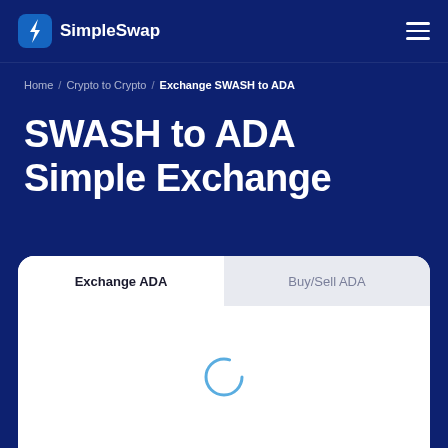SimpleSwap
Home / Crypto to Crypto / Exchange SWASH to ADA
SWASH to ADA Simple Exchange
[Figure (screenshot): Exchange widget card with two tabs: 'Exchange ADA' (active, white background) and 'Buy/Sell ADA' (inactive, grey background), with a loading spinner in the center of the card body]